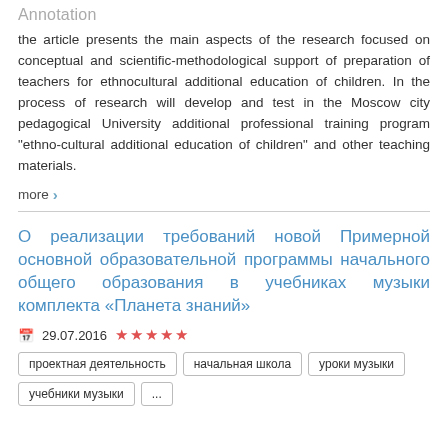Annotation
the article presents the main aspects of the research focused on conceptual and scientific-methodological support of preparation of teachers for ethnocultural additional education of children. In the process of research will develop and test in the Moscow city pedagogical University additional professional training program "ethno-cultural additional education of children" and other teaching materials.
more >
О реализации требований новой Примерной основной образовательной программы начального общего образования в учебниках музыки комплекта «Планета знаний»
29.07.2016 ★★★★★
проектная деятельность
начальная школа
уроки музыки
учебники музыки
...